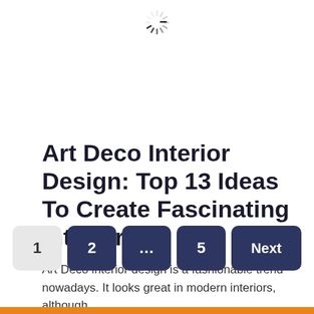[Figure (other): Loading spinner icon at top center of page]
Art Deco Interior Design: Top 13 Ideas To Create Fascinating Interiors
Art Deco interior design is a fashionable trend nowadays. It looks great in modern interiors, although
Pagination: 1, 2, ..., 5, Next